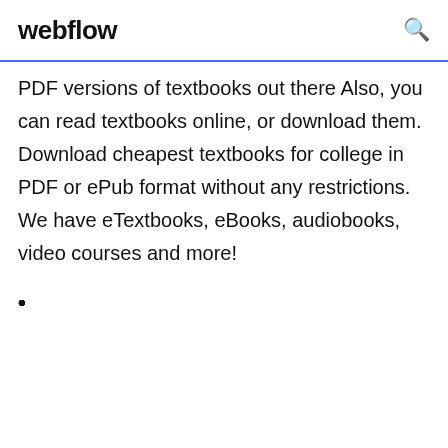webflow
PDF versions of textbooks out there Also, you can read textbooks online, or download them. Download cheapest textbooks for college in PDF or ePub format without any restrictions. We have eTextbooks, eBooks, audiobooks, video courses and more!